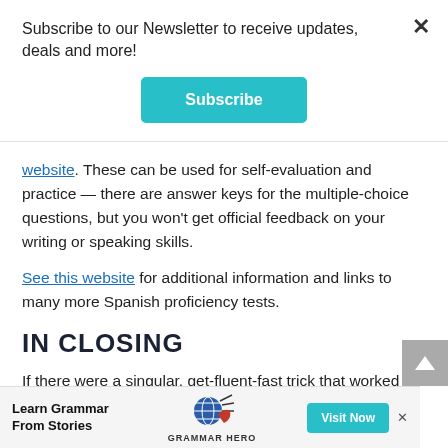Subscribe to our Newsletter to receive updates, deals and more!
Subscribe
website. These can be used for self-evaluation and practice — there are answer keys for the multiple-choice questions, but you won't get official feedback on your writing or speaking skills.
See this website for additional information and links to many more Spanish proficiency tests.
IN CLOSING
If there were a singular, get-fluent-fast trick that worked for everyone, this post would be boring. Learn Grammar From Stories ... and
[Figure (infographic): Advertisement banner: Learn Grammar From Stories - Grammar Hero, with Visit Now button]